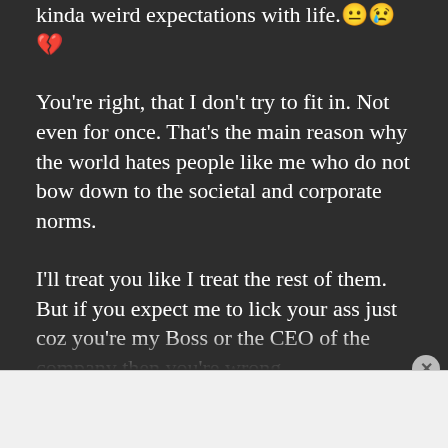kinda weird expectations with life.😐😢💔
You're right, that I don't try to fit in. Not even for once. That's the main reason why the world hates people like me who do not bow down to the societal and corporate norms.
I'll treat you like I treat the rest of them. But if you expect me to lick your ass just coz you're my Boss or the CEO of the company then you're wrong
Advertisements
Build a writing habit. Post on the go.
GET THE APP